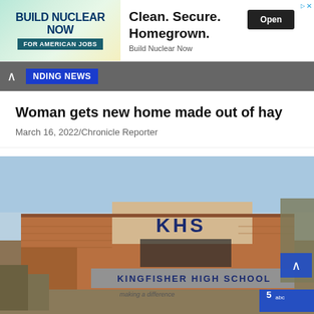[Figure (other): Advertisement banner: BUILD NUCLEAR NOW FOR AMERICAN JOBS. Clean. Secure. Homegrown. Build Nuclear Now. Open button.]
NDING NEWS
Woman gets new home made out of hay
March 16, 2022/Chronicle Reporter
[Figure (photo): Exterior photo of Kingfisher High School (KHS) building, brick facade with sign reading KINGFISHER HIGH SCHOOL, Channel 5 ABC logo in bottom right corner.]